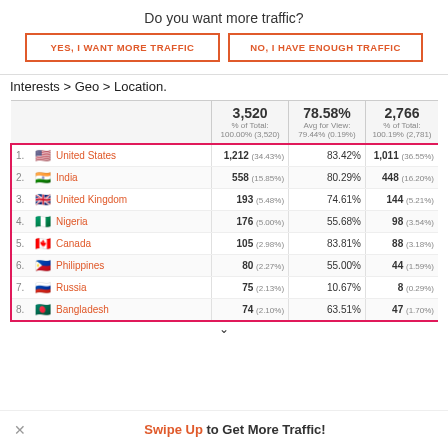Do you want more traffic?
YES, I WANT MORE TRAFFIC
NO, I HAVE ENOUGH TRAFFIC
Interests > Geo > Location.
|  | 3,520
% of Total: 100.00% (3,520) | 78.58%
Avg for View: 79.44% (0.19%) | 2,766
% of Total: 100.19% (2,781) |
| --- | --- | --- | --- |
| 1. United States | 1,212 (34.43%) | 83.42% | 1,011 (36.55%) |
| 2. India | 558 (15.85%) | 80.29% | 448 (16.20%) |
| 3. United Kingdom | 193 (5.48%) | 74.61% | 144 (5.21%) |
| 4. Nigeria | 176 (5.00%) | 55.68% | 98 (3.54%) |
| 5. Canada | 105 (2.98%) | 83.81% | 88 (3.18%) |
| 6. Philippines | 80 (2.27%) | 55.00% | 44 (1.59%) |
| 7. Russia | 75 (2.13%) | 10.67% | 8 (0.29%) |
| 8. Bangladesh | 74 (2.10%) | 63.51% | 47 (1.70%) |
Swipe Up to Get More Traffic!